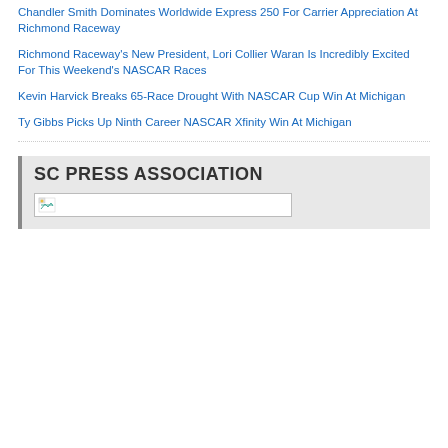Chandler Smith Dominates Worldwide Express 250 For Carrier Appreciation At Richmond Raceway
Richmond Raceway's New President, Lori Collier Waran Is Incredibly Excited For This Weekend's NASCAR Races
Kevin Harvick Breaks 65-Race Drought With NASCAR Cup Win At Michigan
Ty Gibbs Picks Up Ninth Career NASCAR Xfinity Win At Michigan
SC PRESS ASSOCIATION
[Figure (other): Broken/placeholder image thumbnail]